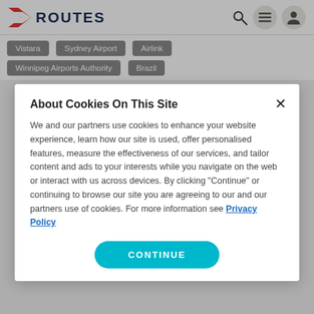ROUTES
Vistara
Sydney Airport
Airlink
Winnipeg Airports Authority
Brazil
About Cookies On This Site
We and our partners use cookies to enhance your website experience, learn how our site is used, offer personalised features, measure the effectiveness of our services, and tailor content and ads to your interests while you navigate on the web or interact with us across devices. By clicking "Continue" or continuing to browse our site you are agreeing to our and our partners use of cookies. For more information see Privacy Policy